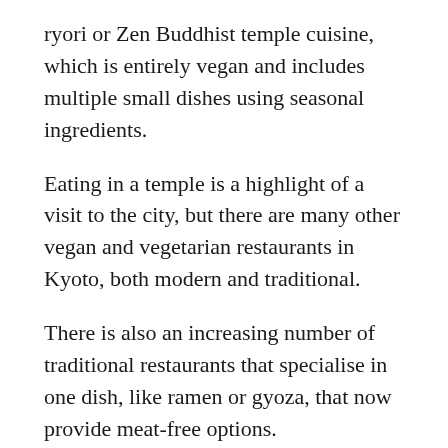ryori or Zen Buddhist temple cuisine, which is entirely vegan and includes multiple small dishes using seasonal ingredients.
Eating in a temple is a highlight of a visit to the city, but there are many other vegan and vegetarian restaurants in Kyoto, both modern and traditional.
There is also an increasing number of traditional restaurants that specialise in one dish, like ramen or gyoza, that now provide meat-free options.
As I emphasise in our guide to surviving as a vegetarian in Japan, planning is key. You will likely struggle if you wander into a random restaurant as dashi (fish broth) is used in many dishes. It's b▒▒▒ to